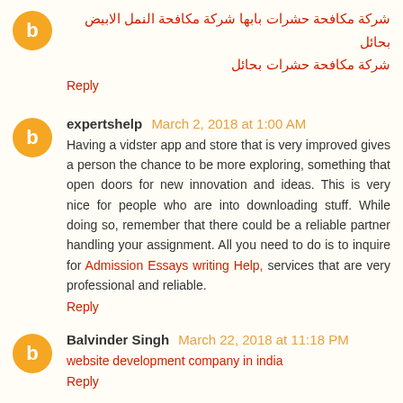شركة مكافحة حشرات بابها شركة مكافحة النمل الابيض بحائل شركة مكافحة حشرات بحائل
Reply
expertshelp March 2, 2018 at 1:00 AM
Having a vidster app and store that is very improved gives a person the chance to be more exploring, something that open doors for new innovation and ideas. This is very nice for people who are into downloading stuff. While doing so, remember that there could be a reliable partner handling your assignment. All you need to do is to inquire for Admission Essays writing Help, services that are very professional and reliable.
Reply
Balvinder Singh March 22, 2018 at 11:18 PM
website development company in india
Reply